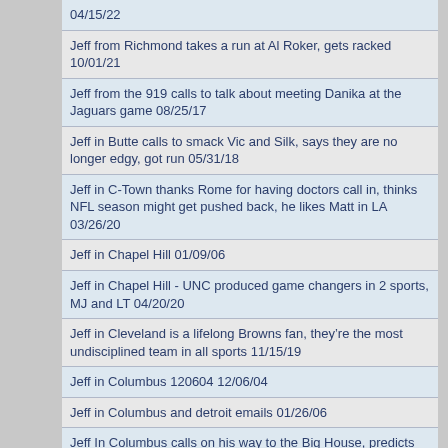04/15/22
Jeff from Richmond takes a run at Al Roker, gets racked 10/01/21
Jeff from the 919 calls to talk about meeting Danika at the Jaguars game 08/25/17
Jeff in Butte calls to smack Vic and Silk, says they are no longer edgy, got run 05/31/18
Jeff in C-Town thanks Rome for having doctors call in, thinks NFL season might get pushed back, he likes Matt in LA 03/26/20
Jeff in Chapel Hill 01/09/06
Jeff in Chapel Hill - UNC produced game changers in 2 sports, MJ and LT 04/20/20
Jeff in Cleveland is a lifelong Browns fan, they're the most undisciplined team in all sports 11/15/19
Jeff in Columbus 120604 12/06/04
Jeff in Columbus and detroit emails 01/26/06
Jeff In Columbus calls on his way to the Big House, predicts score 27 Buckeyes, 27 Ann Arbor Wolverines 11/18/05
Jeff in Houston has been listening since the Big Fax, thinks Astros will win 11/01/17
Jeff in Lakeland
Jeff in Lincoln 09/13/07
Jeff in Louisville with take on UK-UL Sweet 16 matchup, wins Huge Call 03/26/14